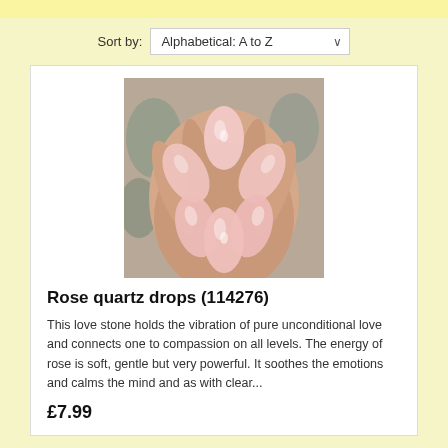Sort by: Alphabetical: A to Z
[Figure (photo): A hand holding five rose quartz drop-shaped crystals arranged in a fan/flower pattern, with pale pink translucent stones against a background of grey-green crystals]
Rose quartz drops (114276)
This love stone holds the vibration of pure unconditional love and connects one to compassion on all levels. The energy of rose is soft, gentle but very powerful. It soothes the emotions and calms the mind and as with clear...
£7.99